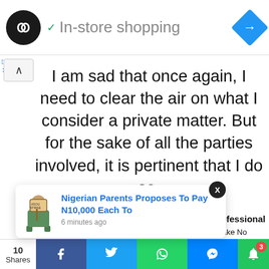[Figure (screenshot): Ad banner showing a logo with infinity-like symbol, checkmark, 'In-store shopping' text, and a blue diamond arrow icon on the right]
I am sad that once again, I need to clear the air on what I consider a private matter. But for the sake of all the parties involved, it is pertinent that I do so.
[Figure (screenshot): Notification popup: 'Nigerian Parents Proposes To Pay N10,000 Each To' with illustration image and '6 minutes ago' timestamp. X close button above popup. Partially visible text 'rofessional' and 'Fake No' on the right.]
[Figure (screenshot): Social share bar at bottom: share count '10 Shares', Facebook, Twitter, WhatsApp, Messenger, and notification bell with badge '3']